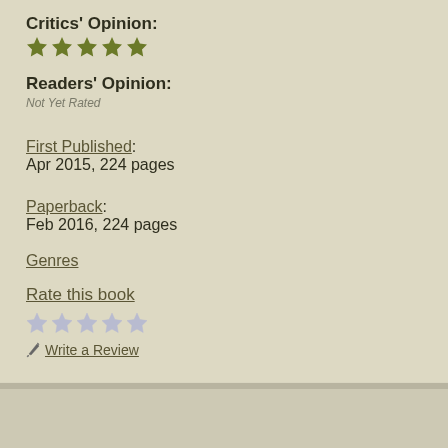Critics' Opinion:
[Figure (other): Five filled green/olive star rating icons]
Readers' Opinion:
Not Yet Rated
First Published: Apr 2015, 224 pages
Paperback: Feb 2016, 224 pages
Genres
Rate this book
[Figure (other): Five empty/grey star rating icons for user rating]
Write a Review
Book Reviewed by: Poornima Apte
Buy This Boo[k]